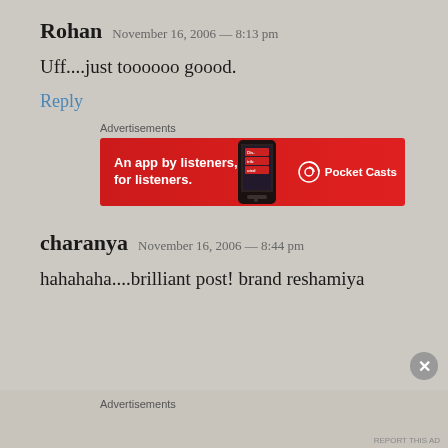Rohan   November 16, 2006 — 8:13 pm
Uff....just toooooo goood.
Reply
[Figure (other): Pocket Casts advertisement banner: red background with smartphone image. Text reads 'An app by listeners, for listeners.' with Pocket Casts logo.]
charanya   November 16, 2006 — 8:44 pm
hahahaha....brilliant post! brand reshamiya
Advertisements